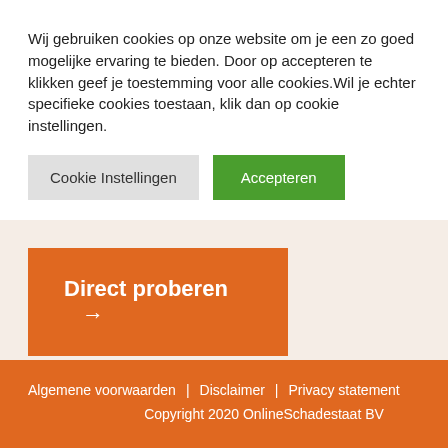Wij gebruiken cookies op onze website om je een zo goed mogelijke ervaring te bieden. Door op accepteren te klikken geef je toestemming voor alle cookies.Wil je echter specifieke cookies toestaan, klik dan op cookie instellingen.
Cookie Instellingen
Accepteren
Direct proberen →
Algemene voorwaarden | Disclaimer | Privacy statement
Copyright 2020 OnlineSchadestaat BV